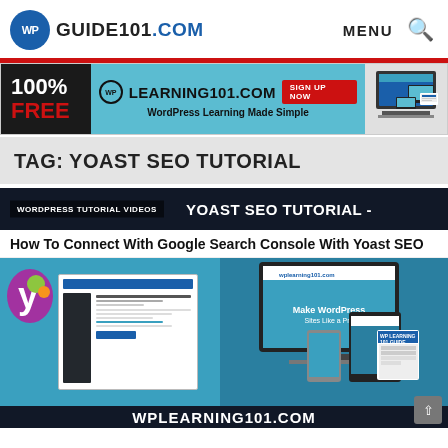WP GUIDE101.COM — MENU
[Figure (screenshot): Advertisement banner: 100% FREE | WPLEARNING101.COM SIGN UP NOW | WordPress Learning Made Simple | device mockup image]
TAG: YOAST SEO TUTORIAL
WORDPRESS TUTORIAL VIDEOS
YOAST SEO TUTORIAL – How To Connect With Google Search Console With Yoast SEO
[Figure (screenshot): Yoast SEO tutorial thumbnail showing Yoast Y logo, WordPress admin screenshot on left and WP Learning 101 device mockup on right]
WPLEARNING101.COM